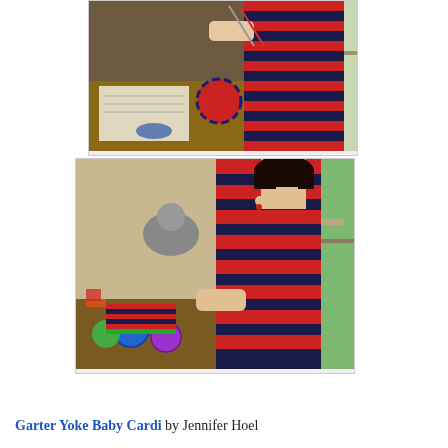[Figure (photo): A pregnant woman in a red and navy striped sleeveless top holding knitting needles at a table with yarn and knitting supplies]
[Figure (photo): A woman with short dark hair in a red and navy striped sleeveless top sitting at a table with colorful yarn balls and knitting supplies near a window]
Garter Yoke Baby Cardi by Jennifer Hoel